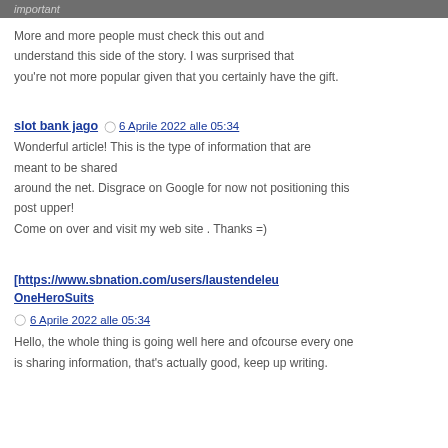important
More and more people must check this out and understand this side of the story. I was surprised that you're not more popular given that you certainly have the gift.
slot bank jago  6 Aprile 2022 alle 05:34
Wonderful article! This is the type of information that are meant to be shared around the net. Disgrace on Google for now not positioning this post upper!
Come on over and visit my web site . Thanks =)
[https://www.sbnation.com/users/laustendeleu OneHeroSuits
6 Aprile 2022 alle 05:34
Hello, the whole thing is going well here and ofcourse every one is sharing information, that's actually good, keep up writing.